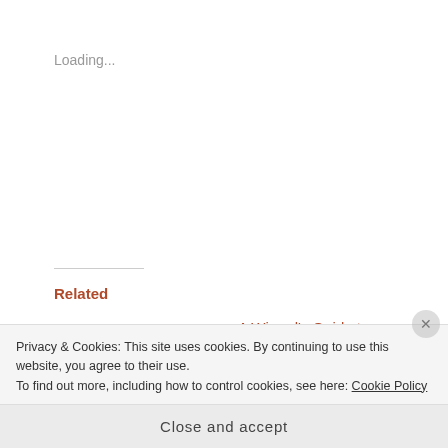Loading...
Related
Equal Rites
June 25, 2019
In "Adult Fiction"
A Wizard's Guide to Defensive Baking
August 2, 2022
In "Adult Fiction"
Hex Hall
April 26, 2012
In "YA"
Privacy & Cookies: This site uses cookies. By continuing to use this website, you agree to their use.
To find out more, including how to control cookies, see here: Cookie Policy
Close and accept